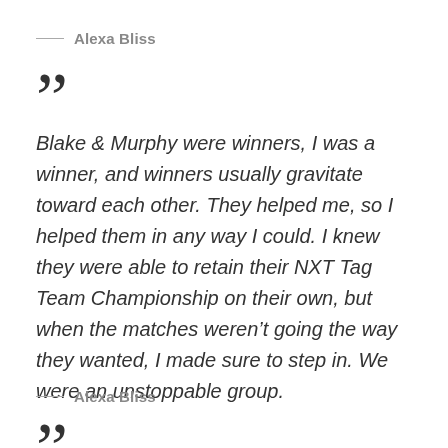— Alexa Bliss (attribution at top, partially visible)
” (closing quote mark)
Blake & Murphy were winners, I was a winner, and winners usually gravitate toward each other. They helped me, so I helped them in any way I could. I knew they were able to retain their NXT Tag Team Championship on their own, but when the matches weren’t going the way they wanted, I made sure to step in. We were an unstoppable group.
— Alexa Bliss
” (closing quote mark, bottom)